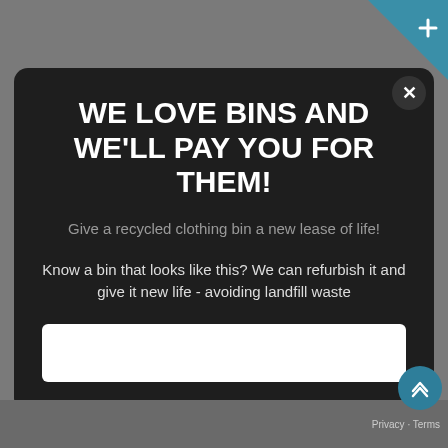[Figure (screenshot): Website popup modal on a grey background with teal accent top-right corner and a scroll-to-top button bottom-right]
WE LOVE BINS AND WE'LL PAY YOU FOR THEM!
Give a recycled clothing bin a new lease of life!
Know a bin that looks like this? We can refurbish it and give it new life - avoiding landfill waste
Privacy · Terms